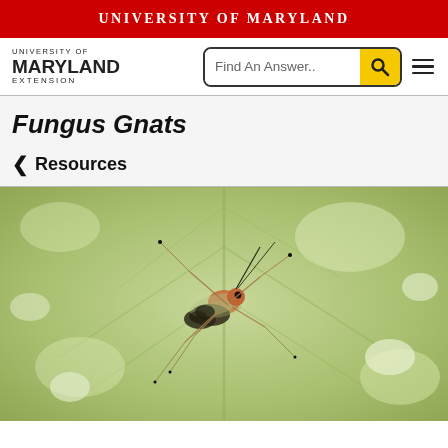UNIVERSITY OF MARYLAND
[Figure (logo): University of Maryland Extension logo with text UNIVERSITY OF MARYLAND EXTENSION]
[Figure (screenshot): Search bar with text 'Find An Answer..' and yellow search button, plus hamburger menu icon]
Fungus Gnats
< Resources
[Figure (photo): Close-up macro photograph of a fungus gnat (small insect with long legs and antennae) resting on a green leaf surface]